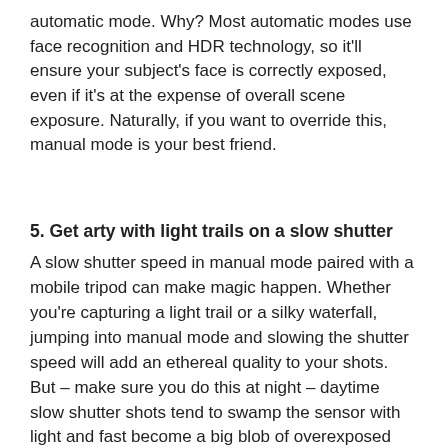automatic mode. Why? Most automatic modes use face recognition and HDR technology, so it'll ensure your subject's face is correctly exposed, even if it's at the expense of overall scene exposure. Naturally, if you want to override this, manual mode is your best friend.
5. Get arty with light trails on a slow shutter
A slow shutter speed in manual mode paired with a mobile tripod can make magic happen. Whether you're capturing a light trail or a silky waterfall, jumping into manual mode and slowing the shutter speed will add an ethereal quality to your shots. But – make sure you do this at night – daytime slow shutter shots tend to swamp the sensor with light and fast become a big blob of overexposed white.
Read our Tips to make better business videos on your smartphone